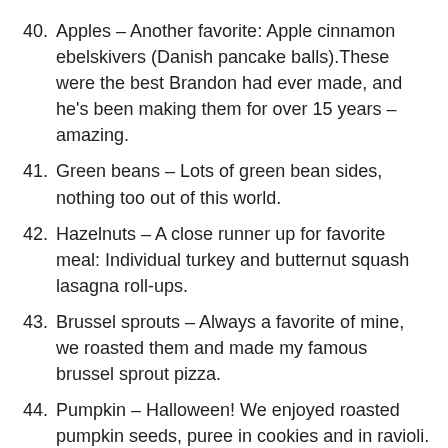40. Apples – Another favorite: Apple cinnamon ebelskivers (Danish pancake balls).These were the best Brandon had ever made, and he's been making them for over 15 years – amazing.
41. Green beans – Lots of green bean sides, nothing too out of this world.
42. Hazelnuts – A close runner up for favorite meal: Individual turkey and butternut squash lasagna roll-ups.
43. Brussel sprouts – Always a favorite of mine, we roasted them and made my famous brussel sprout pizza.
44. Pumpkin – Halloween! We enjoyed roasted pumpkin seeds, puree in cookies and in ravioli.
45. Cardamom – Added to a salad, a rub on salmon (our favorite) and cardamom snickerdoodle (don't add too